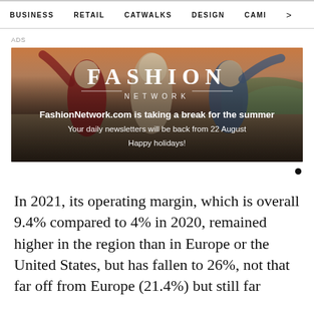BUSINESS   RETAIL   CATWALKS   DESIGN   CAMI  >
ADS
[Figure (photo): Fashion Network advertisement banner showing three young women in a field at sunset with text 'FASHION NETWORK' and 'FashionNetwork.com is taking a break for the summer. Your daily newsletters will be back from 22 August. Happy holidays!']
In 2021, its operating margin, which is overall 9.4% compared to 4% in 2020, remained higher in the region than in Europe or the United States, but has fallen to 26%, not that far off from Europe (21.4%) but still far